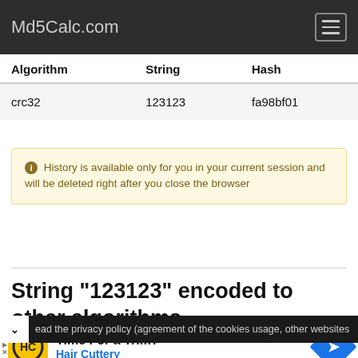Md5Calc.com
| Algorithm | String | Hash |
| --- | --- | --- |
| crc32 | 123123 | fa98bf01 |
History is available only for you in your current session and will be deleted right after you close the browser
String "123123" encoded to other algorithms
Here you can view hashes for "123123" string encoded with other popular algorithms.
ead the privacy policy (agreement of the cookies usage, other websites
Time For a Trim? Hair Cuttery